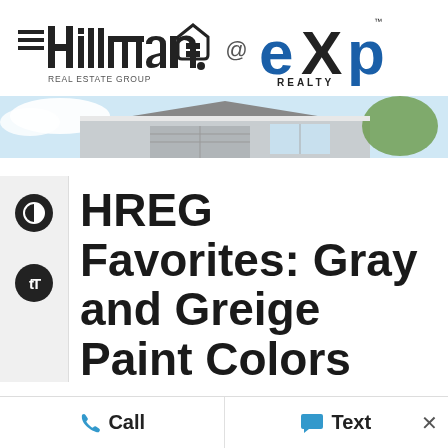[Figure (logo): Hillman Real Estate Group @ eXp Realty logo]
[Figure (photo): House exterior roofline and garage photo strip]
HREG Favorites: Gray and Greige Paint Colors
Back in October, I asked a seemingly simple question on Facebook: “What greige paint color do you love right now or is a hot neutral color that is
Call   Text   ×